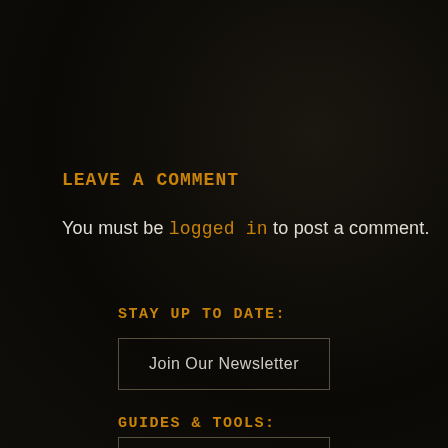LEAVE A COMMENT
You must be logged in to post a comment.
STAY UP TO DATE:
Join Our Newsletter
GUIDES & TOOLS: